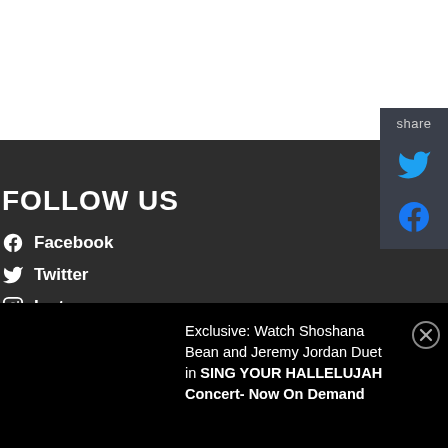FOLLOW US
Facebook
Twitter
Instagram
[Figure (screenshot): Share panel on right side with Twitter and Facebook icons]
Exclusive: Watch Shoshana Bean and Jeremy Jordan Duet in SING YOUR HALLELUJAH Concert- Now On Demand